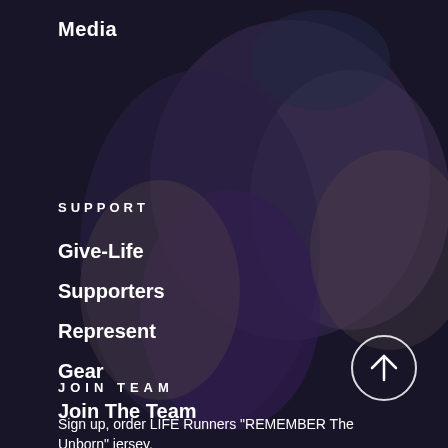[Figure (photo): Blurred background photo of runners or people hugging, wearing purple jerseys, at an outdoor event. Dark, muted tones.]
Media
SUPPORT
Give-Life
Supporters
Represent
Gear
Join The Team
JOIN TEAM
Sign up, order LIFE Runners "REMEMBER The Unborn" jersey,